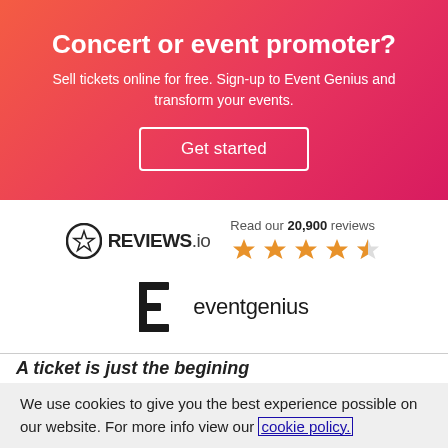Concert or event promoter?
Sell tickets online for free. Sign-up to Event Genius and transform your events.
Get started
[Figure (logo): REVIEWS.io logo with star icon]
Read our 20,900 reviews
[Figure (logo): eventgenius logo with stylized E icon]
A ticket is just the begining
We use cookies to give you the best experience possible on our website. For more info view our cookie policy.